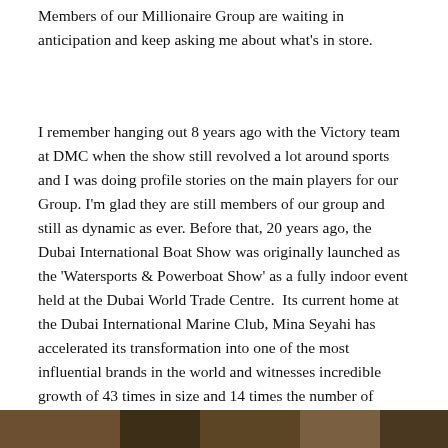Members of our Millionaire Group are waiting in anticipation and keep asking me about what's in store.
I remember hanging out 8 years ago with the Victory team at DMC when the show still revolved a lot around sports and I was doing profile stories on the main players for our Group. I'm glad they are still members of our group and still as dynamic as ever. Before that, 20 years ago, the Dubai International Boat Show was originally launched as the 'Watersports & Powerboat Show' as a fully indoor event held at the Dubai World Trade Centre.  Its current home at the Dubai International Marine Club, Mina Seyahi has accelerated its transformation into one of the most influential brands in the world and witnesses incredible growth of 43 times in size and 14 times the number of exhibiting companies since its inception.
[Figure (photo): Partial view of a photograph at the bottom of the page, appears to show people or an outdoor scene with warm tones.]